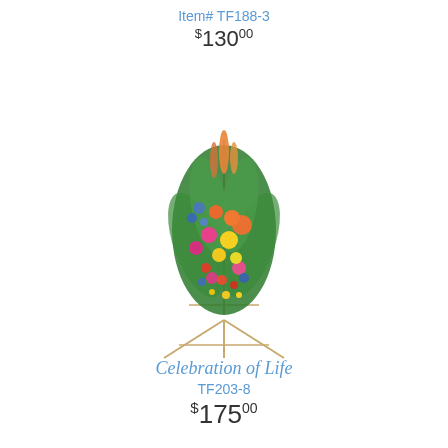Item# TF188-3
$130.00
[Figure (photo): A colorful floral spray arrangement on a metal easel stand, featuring orange gladioli, yellow and orange roses, pink flowers, blue accents, and tropical greenery — a funeral/sympathy standing spray.]
Celebration of Life
TF203-8
$175.00